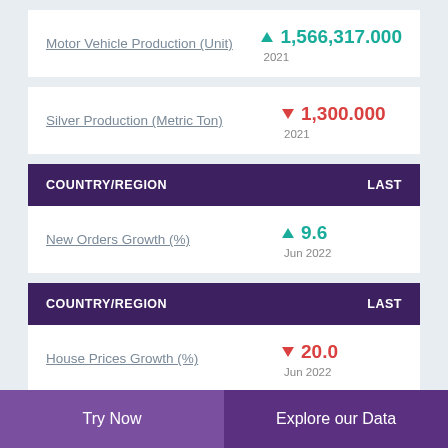Motor Vehicle Production (Unit)
▲ 1,566,317.000
2021
Silver Production (Metric Ton)
▼ 1,300.000
2021
| COUNTRY/REGION | LAST |
| --- | --- |
| New Orders Growth (%) | ▲ 9.6
Jun 2022 |
| COUNTRY/REGION | LAST |
| --- | --- |
| House Prices Growth (%) | ▼ 20.0
Jun 2022 |
Try Now
Explore our Data